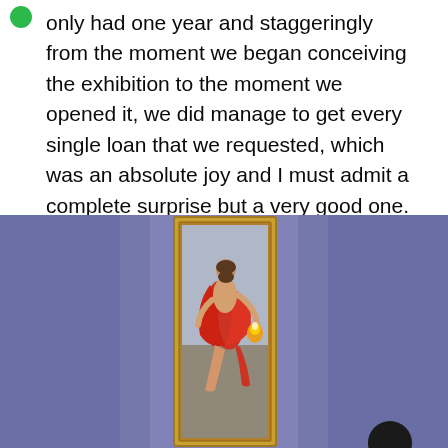only had one year and staggeringly from the moment we began conceiving the exhibition to the moment we opened it, we did manage to get every single loan that we requested, which was an absolute joy and I must admit a complete surprise but a very good one.
[Figure (photo): A framed classical painting displayed on a purple/blue gallery wall, showing a figure in red drapery in a dynamic pose, possibly depicting a mythological scene. A partial silhouette of a person's head is visible at the bottom right.]